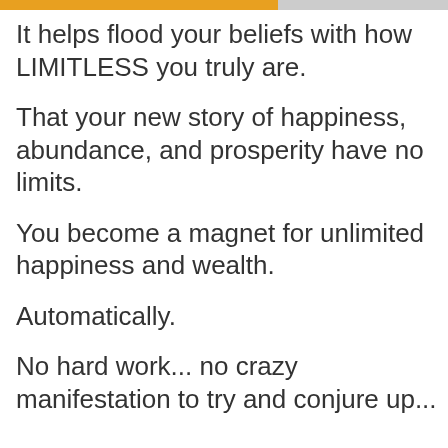It helps flood your beliefs with how LIMITLESS you truly are.
That your new story of happiness, abundance, and prosperity have no limits.
You become a magnet for unlimited happiness and wealth.
Automatically.
No hard work... no crazy manifestation to try and conjure up...